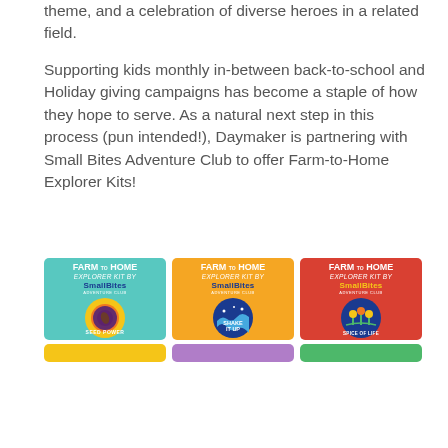theme, and a celebration of diverse heroes in a related field.
Supporting kids monthly in-between back-to-school and Holiday giving campaigns has become a staple of how they hope to serve. As a natural next step in this process (pun intended!), Daymaker is partnering with Small Bites Adventure Club to offer Farm-to-Home Explorer Kits!
[Figure (illustration): Three Farm-to-Home Explorer Kit boxes by SmallBites Adventure Club. Left: teal box with Seed Power badge. Center: orange box with Shake It Up badge. Right: red box with Spice of Life badge. Each shows the smallbites.club website.]
[Figure (illustration): Partial row of three more Farm-to-Home Explorer Kit boxes: yellow, purple, and green, partially visible at the bottom of the page.]